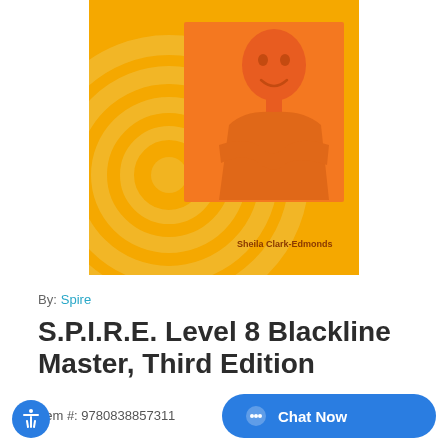[Figure (illustration): Book cover for S.P.I.R.E. Level 8 Blackline Master, Third Edition. Yellow/orange background with concentric spiral design on the left side. Orange-tinted illustration of a smiling boy with crossed arms on the right side. Text 'Sheila Clark-Edmonds' at bottom right of cover.]
By:  Spire
S.P.I.R.E. Level 8 Blackline Master, Third Edition
Item #: 9780838857311